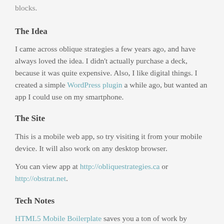blocks.
The Idea
I came across oblique strategies a few years ago, and have always loved the idea. I didn't actually purchase a deck, because it was quite expensive. Also, I like digital things. I created a simple WordPress plugin a while ago, but wanted an app I could use on my smartphone.
The Site
This is a mobile web app, so try visiting it from your mobile device. It will also work on any desktop browser.
You can view app at http://obliquestrategies.ca or http://obstrat.net.
Tech Notes
HTML5 Mobile Boilerplate saves you a ton of work by